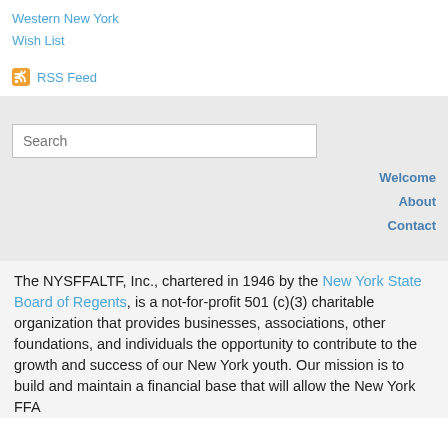Western New York
Wish List
RSS Feed
[Figure (other): Search input field with placeholder text 'Search']
Welcome
About
Contact
The NYSFFALTF, Inc., chartered in 1946 by the New York State Board of Regents, is a not-for-profit 501 (c)(3) charitable organization that provides businesses, associations, other foundations, and individuals the opportunity to contribute to the growth and success of our New York youth. Our mission is to build and maintain a financial base that will allow the New York FFA